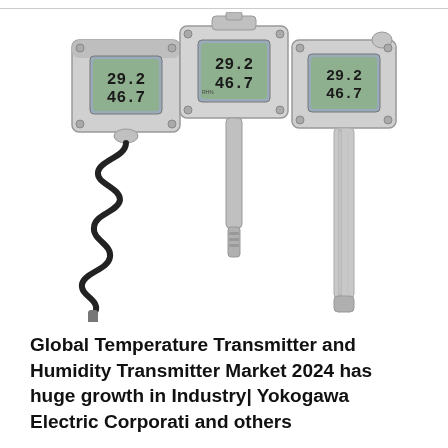[Figure (photo): Three industrial temperature and humidity transmitters with LCD displays showing readings 29.2 and 46.7. Left unit has a remote probe connected by a coiled black cable, center unit has a duct probe, right unit has a long stainless steel immersion probe.]
Global Temperature Transmitter and Humidity Transmitter Market 2024 has huge growth in Industry| Yokogawa Electric Corporati and others